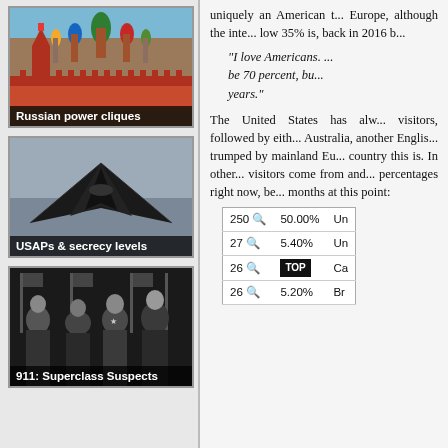[Figure (photo): Kremlin and Saint Basil's Cathedral in Moscow, Russia]
[Figure (photo): F-117 Nighthawk stealth aircraft]
[Figure (photo): Black and white photo of group of men in suits and military uniforms]
uniquely an American t... Europe, although the inte... low 35% is, back in 2016 b...
"I love Americans. ... be 70 percent, bu... years."
The United States has alw... visitors, followed by eith... Australia, another Englis... trumped by mainland Eu... country this is. In other... visitors come from and... percentages right now, be... months at this point:
|  |  |  |
| --- | --- | --- |
| 250 | 50.00% | Un |
| 27 | 5.40% | Un |
| 26 | TOP | Ca |
| 26 | 5.20% | Br |